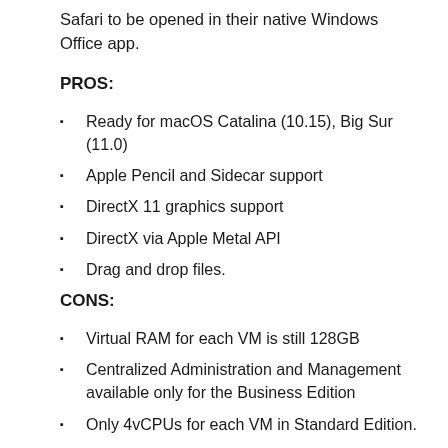Safari to be opened in their native Windows Office app.
PROS:
Ready for macOS Catalina (10.15), Big Sur (11.0)
Apple Pencil and Sidecar support
DirectX 11 graphics support
DirectX via Apple Metal API
Drag and drop files.
CONS:
Virtual RAM for each VM is still 128GB
Centralized Administration and Management available only for the Business Edition
Only 4vCPUs for each VM in Standard Edition.
Setup Technical Details